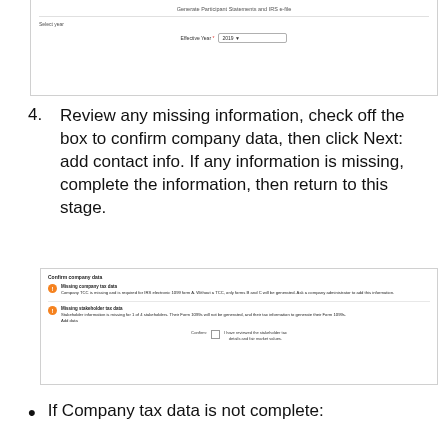[Figure (screenshot): Screenshot showing 'Generate Participant Statements and IRS e-file' page with a 'Select year' section and an 'Effective Year' dropdown set to '2019']
4. Review any missing information, check off the box to confirm company data, then click Next: add contact info. If any information is missing, complete the information, then return to this stage.
[Figure (screenshot): Screenshot showing 'Confirm company data' page with two orange alert icons: 'Missing company tax data' and 'Missing stakeholder tax data', with a confirm checkbox at the bottom]
If Company tax data is not complete: